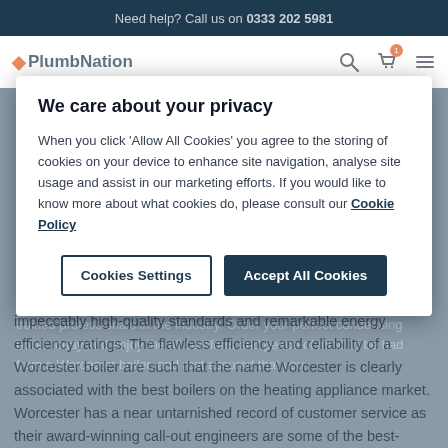Need help? Call us on 0333 202 5981
[Figure (screenshot): PlumbNation website header with logo, search icon, basket icon with notification, and hamburger menu]
We care about your privacy
When you click 'Allow All Cookies' you agree to the storing of cookies on your device to enhance site navigation, analyse site usage and assist in our marketing efforts. If you would like to know more about what cookies do, please consult our Cookie Policy
Cookies Settings | Accept All Cookies
Worcester Bosch is a major heating brand by Bosch home appliance manufacturing company and is responsible for the manufacture of their highly acclaimed boiler range, which is renowned for impeccably high-quality standards and remarkable energy efficiency ratings. The flawless efficiency and reliability of a Worcester boiler are such that the name Worcester is clearly associated with the best boilers on the heating appliance market. Worcester has a near untarnished record of customer service as their award-winning call-out engineers are some of the best-trained professionals in the industry. Order your perfect condensing boiler today and enjoy the all comforts and peace of mind to be had from a Worcester boiler, and rest assured that you